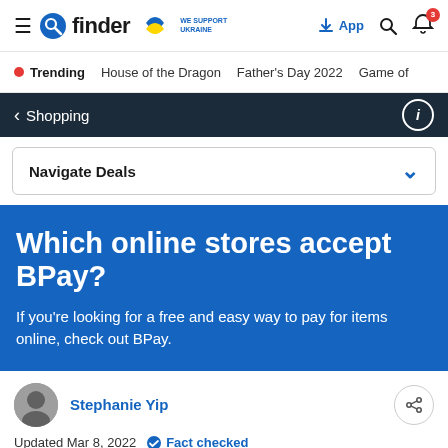finder — WE SUPPORT UKRAINE — App (download icon) Search (bell icon, badge 3)
Trending   House of the Dragon   Father's Day 2022   Game of
< Shopping
Navigate Deals
Which online stores accept BPay?
If you're looking for a free and easy way to pay for items online, check out BPay.
Stephanie Yip
Updated Mar 8, 2022   Fact checked